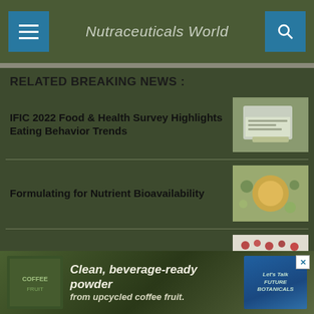Nutraceuticals World
RELATED BREAKING NEWS :
IFIC 2022 Food & Health Survey Highlights Eating Behavior Trends
[Figure (photo): Laptop computer on a desk]
Formulating for Nutrient Bioavailability
[Figure (photo): Cup of tea with fruits and herbs]
INS Nutra Opens Gummy Manufacturing Facility
[Figure (photo): Red gummy candies/berries scattered on white background]
Specnova Launches New Powder Form
[Figure (photo): Advertisement banner: Clean, beverage-ready powder from upcycled coffee fruit.]